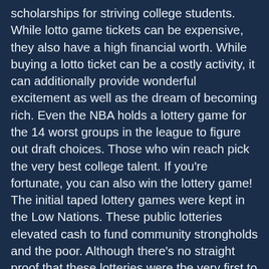scholarships for striving college students. While lotto game tickets can be expensive, they also have a high financial worth. While buying a lotto ticket can be a costly activity, it can additionally provide wonderful excitement as well as the dream of becoming rich. Even the NBA holds a lottery game for the 14 worst groups in the league to figure out draft choices. Those who win reach pick the very best college talent. If you're fortunate, you can also win the lottery game! The initial taped lottery games were kept in the Low Nations. These public lotteries elevated cash to fund community strongholds and the poor. Although there's no straight proof that these lotteries were the very first to supply cash rewards, some old town records recommend that they are much older than that. The document from L'Ecluse dated 9 May 1445 discusses a lotto that had a reward of 4,304 florins. That is the equivalent of concerning US$ 170,000 today. There are likewise some advanced play alternatives for players who intend to increase their chances of winning. The lotto lottery normally requires players to purchase a ticket and match a certain number with a details number to win the pot. Players must be 18 years old to acquire a lotto ticket. Sometimes, the reward